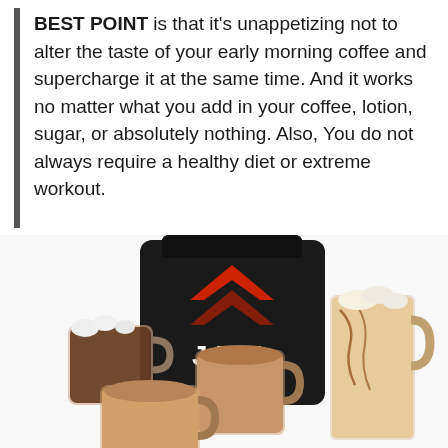BEST POINT is that it's unappetizing not to alter the taste of your early morning coffee and supercharge it at the same time. And it works no matter what you add in your coffee, lotion, sugar, or absolutely nothing. Also, You do not always require a healthy diet or extreme workout.
[Figure (photo): A Java brand supplement container (black bag with red chevron logo and 'JAVA' text) surrounded by multiple glass mugs filled with coffee-based drinks topped with marshmallows, whipped cream, and caramel drizzle.]